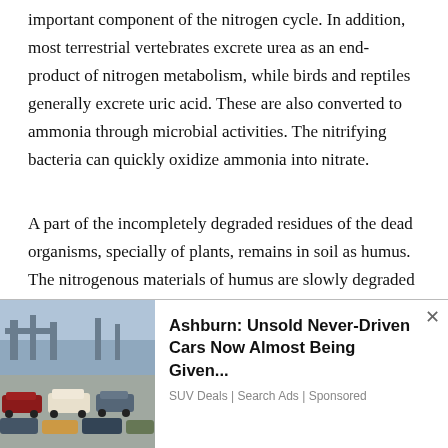important component of the nitrogen cycle. In addition, most terrestrial vertebrates excrete urea as an end-product of nitrogen metabolism, while birds and reptiles generally excrete uric acid. These are also converted to ammonia through microbial activities. The nitrifying bacteria can quickly oxidize ammonia into nitrate.
A part of the incompletely degraded residues of the dead organisms, specially of plants, remains in soil as humus. The nitrogenous materials of humus are slowly degraded in the soil and used for nourishment of plants and microorganisms.
It can be seen from Fig. 8.68 that ammonia occupies a central position in the nitrogen cycle. The bulk of ammonia originates
We use cookies on our website to give you the most relevant experience by remembering your preferences and repeat visits. By clicking “Accept”, you consent to the use of ALL the cookies.
Do not sell my personal information.
[Figure (photo): Image of cars/SUVs parked in a large lot, with ships or large vessels in the background.]
Ashburn: Unsold Never-Driven Cars Now Almost Being Given...
SUV Deals | Search Ads | Sponsored